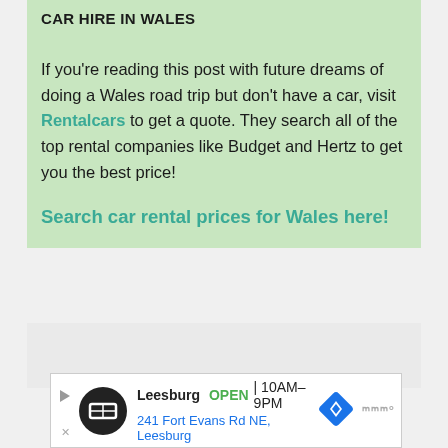CAR HIRE IN WALES
If you're reading this post with future dreams of doing a Wales road trip but don't have a car, visit Rentalcars to get a quote. They search all of the top rental companies like Budget and Hertz to get you the best price!
Search car rental prices for Wales here!
[Figure (other): Advertisement banner for Leesburg location showing OPEN 10AM-9PM, 241 Fort Evans Rd NE, Leesburg with navigation icons]